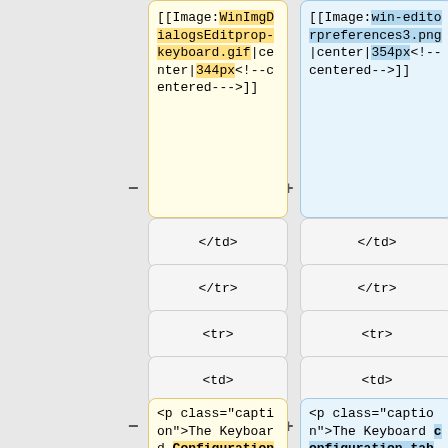[[Image:WinImgDialogsEditprop-keyboard.gif|center|344px<!--centered--->]]
[[Image:win-editorpreferences3.png|center|354px<!--centered-->]]
</td>
</td>
</tr>
</tr>
<tr>
<tr>
<td>
<td>
<p class="caption">The Keyboard Configuration Dialog</p>
<p class="caption">The Keyboard configuration tab</p>